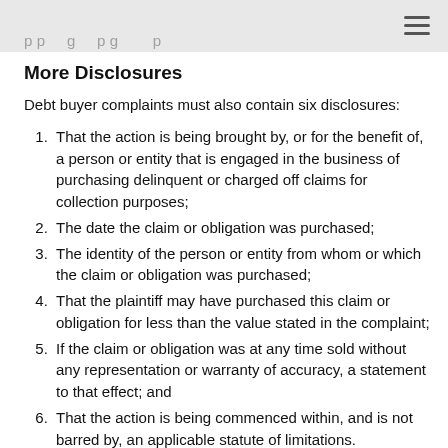More Disclosures
Debt buyer complaints must also contain six disclosures:
That the action is being brought by, or for the benefit of, a person or entity that is engaged in the business of purchasing delinquent or charged off claims for collection purposes;
The date the claim or obligation was purchased;
The identity of the person or entity from whom or which the claim or obligation was purchased;
That the plaintiff may have purchased this claim or obligation for less than the value stated in the complaint;
If the claim or obligation was at any time sold without any representation or warranty of accuracy, a statement to that effect; and
That the action is being commenced within, and is not barred by, an applicable statute of limitations.